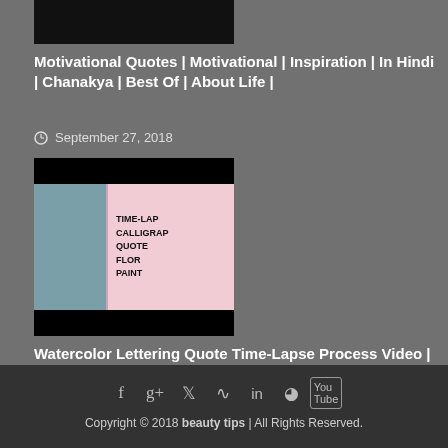[Figure (photo): Black thumbnail image for motivational quotes video]
Motivational Quotes | Motivational | Inspiration | In Hindi | Chanakya | Best Of | About Life |
September 27, 2018
[Figure (photo): Thumbnail showing woman holding calligraphy watercolor art with text TIME-LAPSE CALLIGRAPHY QUOTE FLORAL PAINTING]
Watercolor Lettering Quote Time-Lapse Process Video | Motivational Quotes and Abstract Watercolors
September 27, 2018
Copyright © 2018 beauty tips | All Rights Reserved.